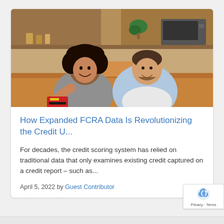[Figure (photo): A smiling couple sitting on a sofa in a kitchen setting. A woman with curly hair holds a red credit card while a man with a beard looks on happily.]
How Expanded FCRA Data Is Revolutionizing the Credit U...
For decades, the credit scoring system has relied on traditional data that only examines existing credit captured on a credit report – such as...
April 5, 2022 by Guest Contributor